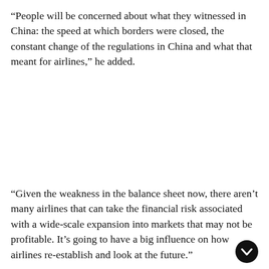“People will be concerned about what they witnessed in China: the speed at which borders were closed, the constant change of the regulations in China and what that meant for airlines,” he added.
“Given the weakness in the balance sheet now, there aren’t many airlines that can take the financial risk associated with a wide-scale expansion into markets that may not be profitable. It’s going to have a big influence on how airlines re-establish and look at the future.”